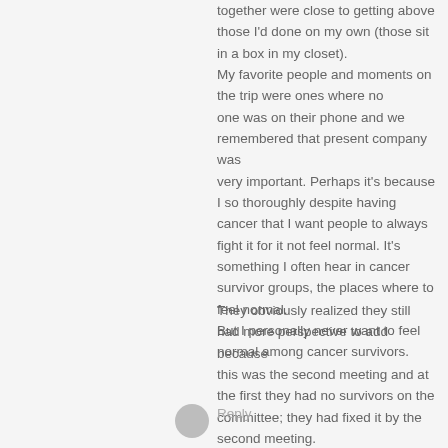together were close to getting above those I'd done on my own (those sit in a box in my closet). My favorite people and moments on the trip were ones where no one was on their phone and we remembered that present company was very important. Perhaps it's because I so thoroughly despite having cancer that I want people to always fight it for it not feel normal. It's something I often hear in cancer survivor groups, the places where to feel normal. But I personally never want to feel normal among cancer survivors.
They obviously realized they still had more perspective to add because this was the second meeting and at the first they had no survivors on the committee; they had fixed it by the second meeting.
Reply